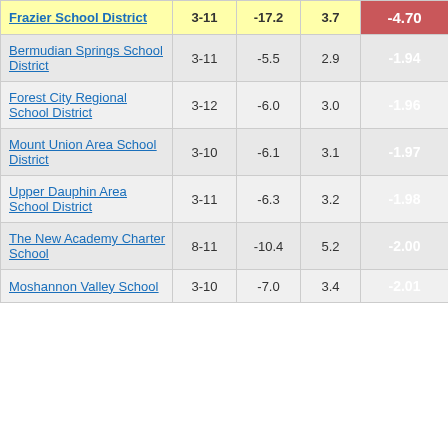| District | Grades | Col3 | Col4 | Score |
| --- | --- | --- | --- | --- |
| Frazier School District | 3-11 | -17.2 | 3.7 | -4.70 |
| Bermudian Springs School District | 3-11 | -5.5 | 2.9 | -1.94 |
| Forest City Regional School District | 3-12 | -6.0 | 3.0 | -1.96 |
| Mount Union Area School District | 3-10 | -6.1 | 3.1 | -1.97 |
| Upper Dauphin Area School District | 3-11 | -6.3 | 3.2 | -1.98 |
| The New Academy Charter School | 8-11 | -10.4 | 5.2 | -2.00 |
| Moshannon Valley School | 3-10 | -7.0 | 3.4 | -2.01 |